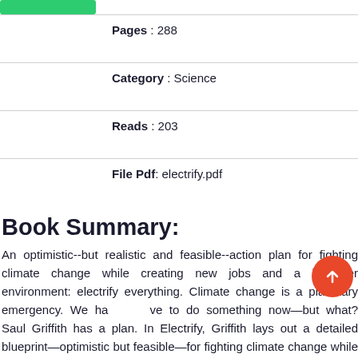Pages : 288
Category : Science
Reads : 203
File Pdf: electrify.pdf
Book Summary:
An optimistic--but realistic and feasible--action plan for fighting climate change while creating new jobs and a healthier environment: electrify everything. Climate change is a planetary emergency. We have to do something now—but what? Saul Griffith has a plan. In Electrify, Griffith lays out a detailed blueprint—optimistic but feasible—for fighting climate change while creating millions of new jobs and a healthier environment.